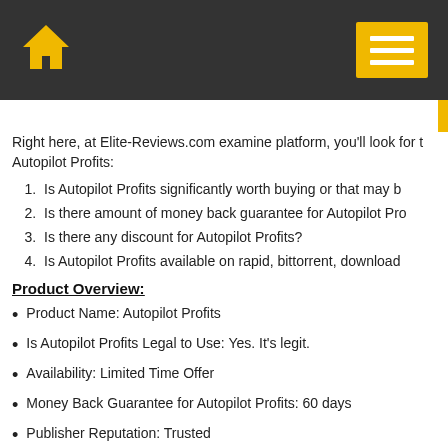Navigation header with home icon and menu button
Right here, at Elite-Reviews.com examine platform, you'll look for the Autopilot Profits:
Is Autopilot Profits significantly worth buying or that may b...
Is there amount of money back guarantee for Autopilot Pro...
Is there any discount for Autopilot Profits?
Is Autopilot Profits available on rapid, bittorrent, download...
Product Overview:
Product Name: Autopilot Profits
Is Autopilot Profits Legal to Use: Yes. It's legit.
Availability: Limited Time Offer
Money Back Guarantee for Autopilot Profits: 60 days
Publisher Reputation: Trusted